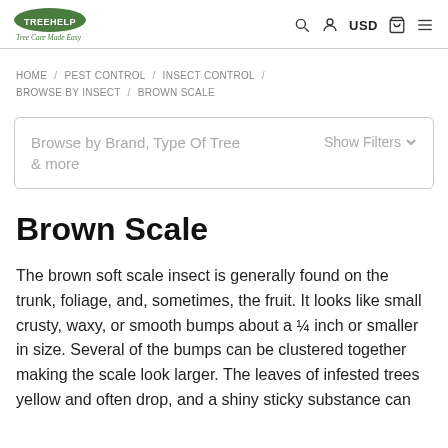TREEHELP.COM — Tree Care Made Easy | USD
HOME / PEST CONTROL / INSECT CONTROL / BROWSE BY INSECT / BROWN SCALE
Browse by Brand, Type Of Tree & more   Show Filters
Brown Scale
The brown soft scale insect is generally found on the trunk, foliage, and, sometimes, the fruit. It looks like small crusty, waxy, or smooth bumps about a ¼ inch or smaller in size. Several of the bumps can be clustered together making the scale look larger. The leaves of infested trees yellow and often drop, and a shiny sticky substance can